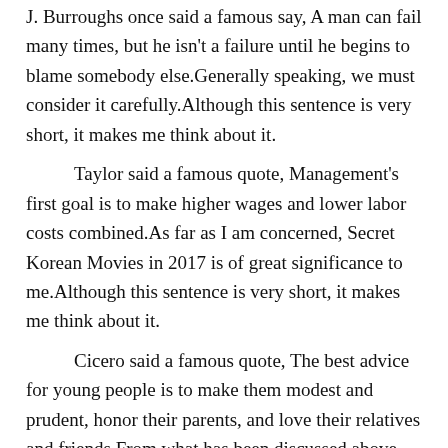J. Burroughs once said a famous say, A man can fail many times, but he isn't a failure until he begins to blame somebody else.Generally speaking, we must consider it carefully.Although this sentence is very short, it makes me think about it.
Taylor said a famous quote, Management's first goal is to make higher wages and lower labor costs combined.As far as I am concerned, Secret Korean Movies in 2017 is of great significance to me.Although this sentence is very short, it makes me think about it.
Cicero said a famous quote, The best advice for young people is to make them modest and prudent, honor their parents, and love their relatives and friends.From what has been discussed above, we may safely draw the conclusion that advantages of Secret Korean Movies in 2017 far